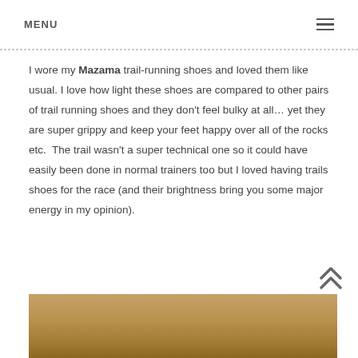MENU ≡
I wore my Mazama trail-running shoes and loved them like usual. I love how light these shoes are compared to other pairs of trail running shoes and they don't feel bulky at all… yet they are super grippy and keep your feet happy over all of the rocks etc.  The trail wasn't a super technical one so it could have easily been done in normal trainers too but I loved having trails shoes for the race (and their brightness bring you some major energy in my opinion).
[Figure (photo): Partial photo of what appears to be a wooden or tan-colored surface, cropped at bottom of page]